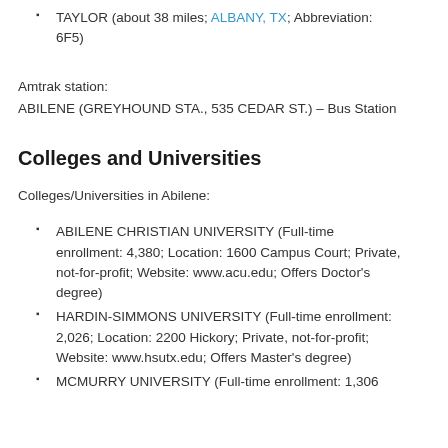TAYLOR (about 38 miles; ALBANY, TX; Abbreviation: 6F5)
Amtrak station:
ABILENE (GREYHOUND STA., 535 CEDAR ST.) – Bus Station
Colleges and Universities
Colleges/Universities in Abilene:
ABILENE CHRISTIAN UNIVERSITY (Full-time enrollment: 4,380; Location: 1600 Campus Court; Private, not-for-profit; Website: www.acu.edu; Offers Doctor's degree)
HARDIN-SIMMONS UNIVERSITY (Full-time enrollment: 2,026; Location: 2200 Hickory; Private, not-for-profit; Website: www.hsutx.edu; Offers Master's degree)
MCMURRY UNIVERSITY (Full-time enrollment: 1,306...